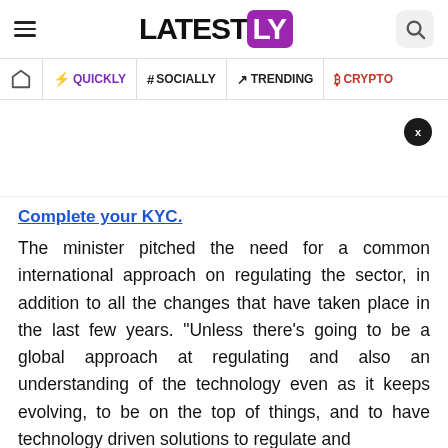LATEST LY
QUICKLY | # SOCIALLY | TRENDING | CRYPTO
[Figure (other): Advertisement area with close (X) button]
Complete your KYC.
The minister pitched the need for a common international approach on regulating the sector, in addition to all the changes that have taken place in the last few years. "Unless there's going to be a global approach at regulating and also an understanding of the technology even as it keeps evolving, to be on the top of things, and to have technology driven solutions to regulate and